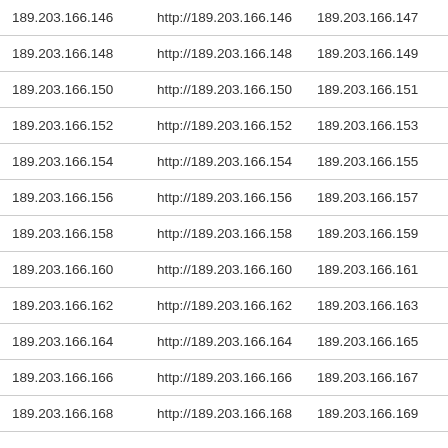| 189.203.166.146 | http://189.203.166.146 | 189.203.166.147 | ht |
| 189.203.166.148 | http://189.203.166.148 | 189.203.166.149 | ht |
| 189.203.166.150 | http://189.203.166.150 | 189.203.166.151 | ht |
| 189.203.166.152 | http://189.203.166.152 | 189.203.166.153 | ht |
| 189.203.166.154 | http://189.203.166.154 | 189.203.166.155 | ht |
| 189.203.166.156 | http://189.203.166.156 | 189.203.166.157 | ht |
| 189.203.166.158 | http://189.203.166.158 | 189.203.166.159 | ht |
| 189.203.166.160 | http://189.203.166.160 | 189.203.166.161 | ht |
| 189.203.166.162 | http://189.203.166.162 | 189.203.166.163 | ht |
| 189.203.166.164 | http://189.203.166.164 | 189.203.166.165 | ht |
| 189.203.166.166 | http://189.203.166.166 | 189.203.166.167 | ht |
| 189.203.166.168 | http://189.203.166.168 | 189.203.166.169 | ht |